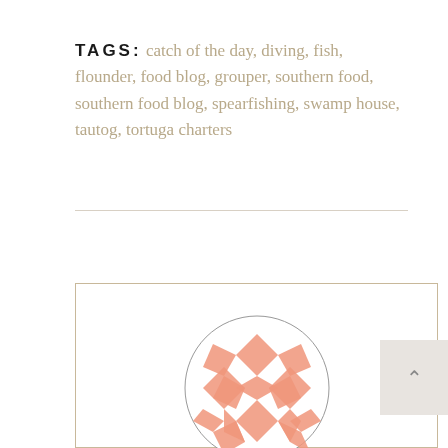TAGS: catch of the day, diving, fish, flounder, food blog, grouper, southern food, southern food blog, spearfishing, swamp house, tautog, tortuga charters
[Figure (illustration): Circular avatar with a salmon/peach colored geometric quilt-like pattern on white background]
Courtney
18.03.2010 at 08:10 | Reply